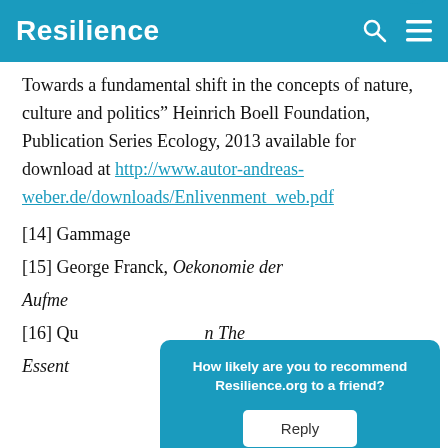Resilience
Towards a fundamental shift in the concepts of nature, culture and politics” Heinrich Boell Foundation, Publication Series Ecology, 2013 available for download at http://www.autor-andreas-weber.de/downloads/Enlivenment_web.pdf
[14] Gammage
[15] George Franck, Oekonomie der Aufme…
[16] Qu… in The Essent… 2001 p.
How likely are you to recommend Resilience.org to a friend?